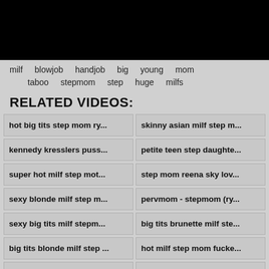[Figure (other): Black rectangle at top of page representing a video player or thumbnail]
milf blowjob handjob big young mom taboo stepmom step huge milfs
RELATED VIDEOS:
hot big tits step mom ry...
skinny asian milf step m...
kennedy kresslers puss...
petite teen step daughte...
super hot milf step mot...
step mom reena sky lov...
sexy blonde milf step m...
pervmom - stepmom (ry...
sexy big tits milf stepm...
big tits brunette milf ste...
big tits blonde milf step ...
hot milf step mom fucke...
step mom wants young ...
asian teen step sister ja...
chubby curvy short hair...
hot petite arab muslim ...
familystrokes - busty sl...
horny blonde big tits mi...